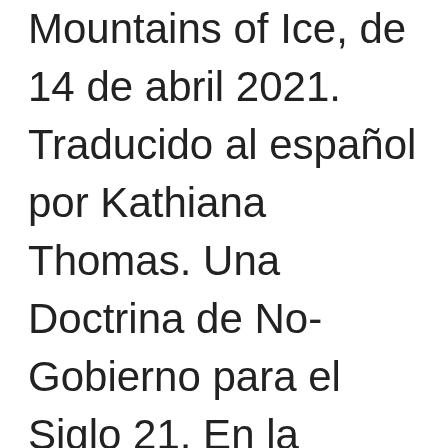Mountains of Ice, de 14 de abril 2021. Traducido al español por Kathiana Thomas. Una Doctrina de No-Gobierno para el Siglo 21. En la